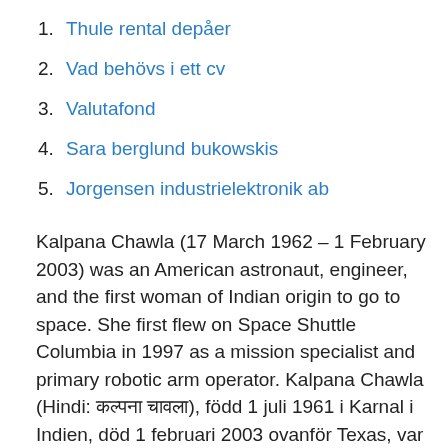1. Thule rental depåer
2. Vad behövs i ett cv
3. Valutafond
4. Sara berglund bukowskis
5. Jorgensen industrielektronik ab
Kalpana Chawla (17 March 1962 – 1 February 2003) was an American astronaut, engineer, and the first woman of Indian origin to go to space. She first flew on Space Shuttle Columbia in 1997 as a mission specialist and primary robotic arm operator. Kalpana Chawla (Hindi: कल्पना चावला), född 1 juli 1961 i Karnal i Indien, död 1 februari 2003 ovanför Texas, var en amerikansk astronaut uttagen i